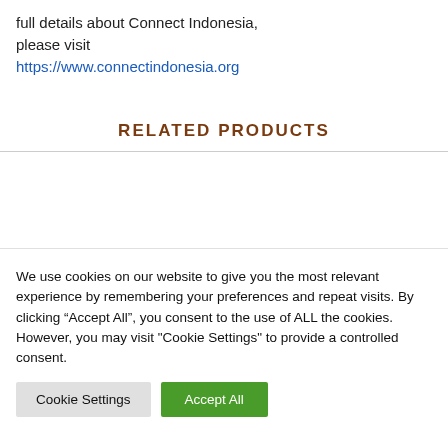full details about Connect Indonesia, please visit https://www.connectindonesia.org
RELATED PRODUCTS
We use cookies on our website to give you the most relevant experience by remembering your preferences and repeat visits. By clicking “Accept All”, you consent to the use of ALL the cookies. However, you may visit "Cookie Settings" to provide a controlled consent.